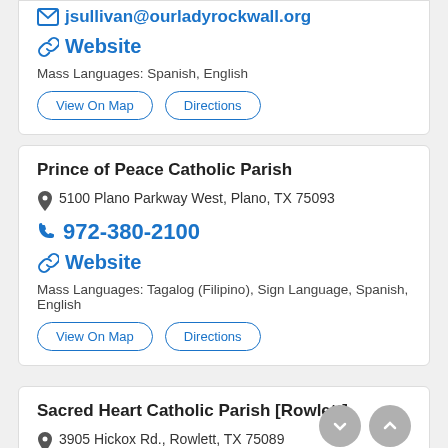jsullivan@ourladyrockwall.org
Website
Mass Languages: Spanish, English
View On Map | Directions
Prince of Peace Catholic Parish
5100 Plano Parkway West, Plano, TX 75093
972-380-2100
Website
Mass Languages: Tagalog (Filipino), Sign Language, Spanish, English
View On Map | Directions
Sacred Heart Catholic Parish [Rowlett]
3905 Hickox Rd., Rowlett, TX 75089
972-475-4405